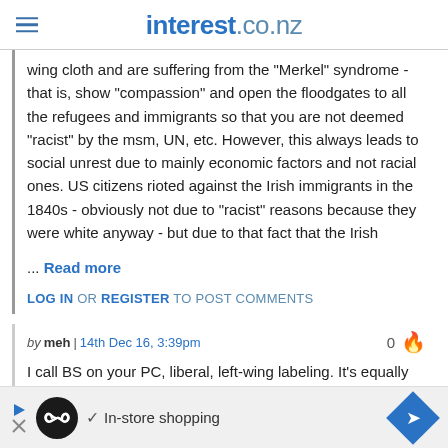interest.co.nz
wing cloth and are suffering from the "Merkel" syndrome - that is, show "compassion" and open the floodgates to all the refugees and immigrants so that you are not deemed "racist" by the msm, UN, etc. However, this always leads to social unrest due to mainly economic factors and not racial ones. US citizens rioted against the Irish immigrants in the 1840s - obviously not due to "racist" reasons because they were white anyway - but due to that fact that the Irish
... Read more
LOG IN OR REGISTER TO POST COMMENTS
by meh | 14th Dec 16, 3:39pm
I call BS on your PC, liberal, left-wing labeling. It's equally
[Figure (infographic): Advertisement bar with play icon, infinity symbol, checkmark, 'In-store shopping' text, and blue diamond navigation icon]